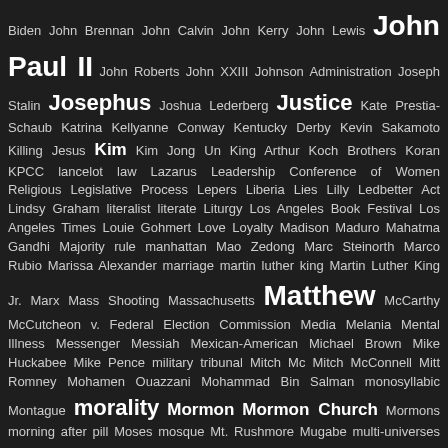Biden John Brennan John Calvin John Kerry John Lewis John Paul II John Roberts John XXIII Johnson Administration Joseph Stalin Josephus Joshua Lederberg Justice Kate Prestia-Schaub Katrina Kellyanne Conway Kentucky Derby Kevin Sakamoto Killing Jesus Kim Kim Jong Un King Arthur Koch Brothers Koran KPCC lancelot law Lazarus Leadership Conference of Women Religious Legislative Process Lepers Liberia Lies Lilly Ledbetter Act Lindsy Graham literalist literate Liturgy Los Angeles Book Festival Los Angeles Times Louie Gohmert Love Loyalty Madison Maduro Mahatma Gandhi Majority rule manhattan Mao Zedong Marc Steinorth Marco Rubio Marissa Alexander marriage martin luther king Martin Luther King Jr. Marx Mass Shooting Massachusetts Matthew McCarthy McCutcheon v. Federal Election Commission Media Melania Mental Illness Messenger Messiah Mexican-American Michael Brown Mike Huckabee Mike Pence military tribunal Mitch Mc Mitch McConnell Mitt Romney Mohamen Ouazzani Mohammad Bin Salman monosyllabic Montague morality Mormon Mormon Church Mormons morning after pill Moses mosque Mt. Rushmore Mugabe multi-universes Muslim Nancy Pelosi Narcisissm Nathuram Godse National Party National Rifle Association nativists Natural Selection Nazis neurons New Orleans New Testament New York Times Newfound Innocence